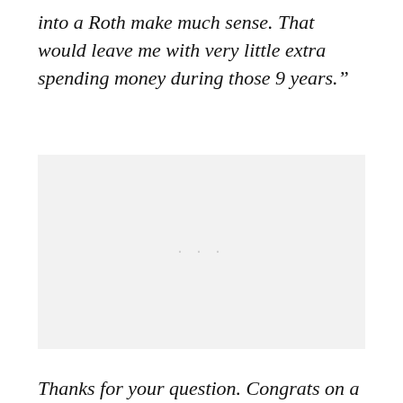into a Roth make much sense. That would leave me with very little extra spending money during those 9 years.”
[Figure (other): Blank light gray placeholder image box with three faint dots in the center]
Thanks for your question. Congrats on a